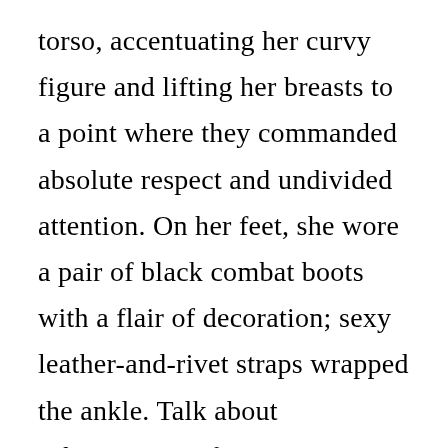torso, accentuating her curvy figure and lifting her breasts to a point where they commanded absolute respect and undivided attention. On her feet, she wore a pair of black combat boots with a flair of decoration; sexy leather-and-rivet straps wrapped the ankle. Talk about submissive perfection.